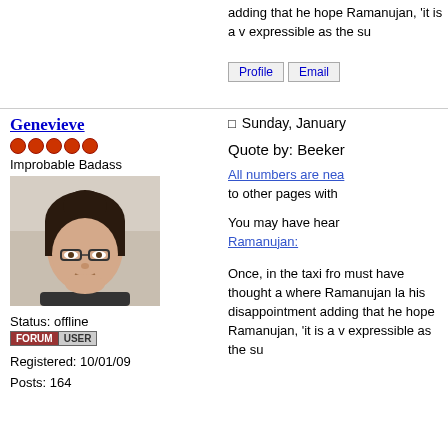adding that he hope Ramanujan, 'it is a w expressible as the su
Profile   Email
Genevieve
Improbable Badass
[Figure (photo): Profile photo of a woman with dark hair and glasses]
Sunday, January
Quote by: Beeker
All numbers are nea to other pages with
You may have hear Ramanujan:
Status: offline
Registered: 10/01/09
Posts: 164
Once, in the taxi fro must have thought a where Ramanujan la his disappointment adding that he hope Ramanujan, 'it is a w expressible as the su